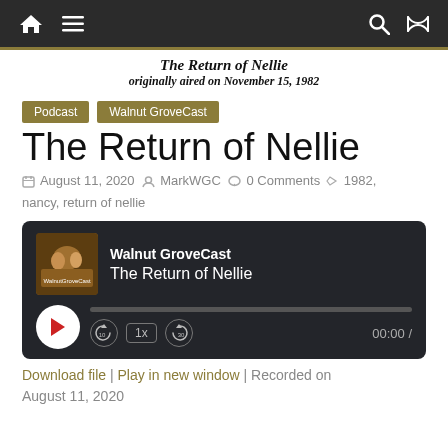Navigation bar with home, menu, search, shuffle icons
The Return of Nellie
originally aired on November 15, 1982
Podcast
Walnut GroveCast
The Return of Nellie
August 11, 2020   MarkWGC   0 Comments   1982, nancy, return of nellie
[Figure (screenshot): Podcast audio player for Walnut GroveCast - The Return of Nellie, showing play button, progress bar, speed controls (1x), skip buttons (-10, +30), and time display 00:00 /]
Download file | Play in new window | Recorded on August 11, 2020